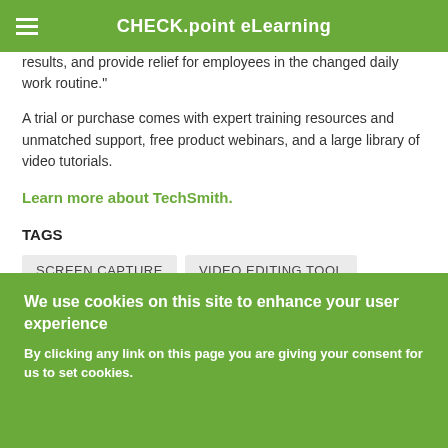CHECK.point eLearning
results, and provide relief for employees in the changed daily work routine."
A trial or purchase comes with expert training resources and unmatched support, free product webinars, and a large library of video tutorials.
Learn more about TechSmith.
TAGS
SCREEN CAPTURE
VIDEO EDITING TOOL
REMOTETECH BREAKTHROUGH AWARDS
We use cookies on this site to enhance your user experience
By clicking any link on this page you are giving your consent for us to set cookies.